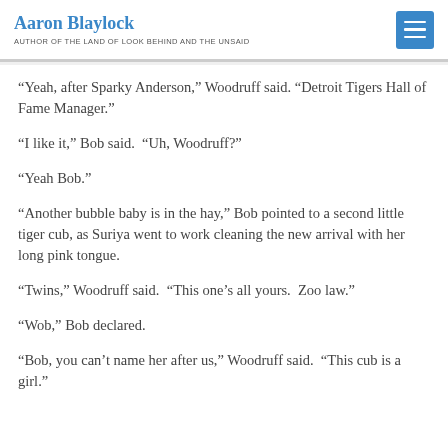Aaron Blaylock
AUTHOR OF THE LAND OF LOOK BEHIND AND THE UNSAID
“Yeah, after Sparky Anderson,” Woodruff said. “Detroit Tigers Hall of Fame Manager.”
“I like it,” Bob said.  “Uh, Woodruff?”
“Yeah Bob.”
“Another bubble baby is in the hay,” Bob pointed to a second little tiger cub, as Suriya went to work cleaning the new arrival with her long pink tongue.
“Twins,” Woodruff said.  “This one’s all yours.  Zoo law.”
“Wob,” Bob declared.
“Bob, you can’t name her after us,” Woodruff said.  “This cub is a girl.”